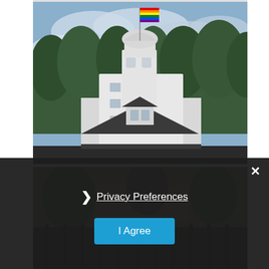[Figure (photo): A white Victorian-style building with a bell tower, topped with a rainbow pride flag, surrounded by tall eucalyptus trees under a partly cloudy sky.]
[Figure (photo): Partial view of rooftops and trees, partially obscured by a dark privacy consent overlay.]
× Privacy Preferences I Agree